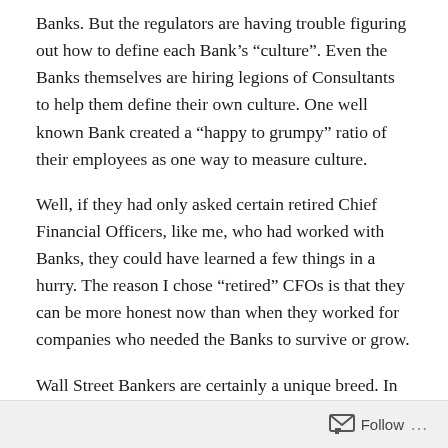Banks. But the regulators are having trouble figuring out how to define each Bank's “culture”. Even the Banks themselves are hiring legions of Consultants to help them define their own culture. One well known Bank created a “happy to grumpy” ratio of their employees as one way to measure culture.
Well, if they had only asked certain retired Chief Financial Officers, like me, who had worked with Banks, they could have learned a few things in a hurry. The reason I chose “retired” CFOs is that they can be more honest now than when they worked for companies who needed the Banks to survive or grow.
Wall Street Bankers are certainly a unique breed. In my book, The Business Zoo, I have a lot of stories that relate
Follow